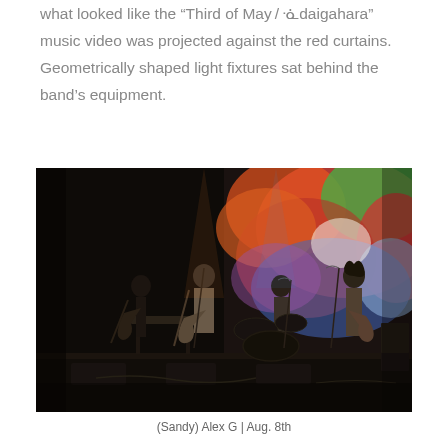what looked like the “Third of May / ᓍaigahara” music video was projected against the red curtains. Geometrically shaped light fixtures sat behind the band’s equipment.
[Figure (photo): Concert photo of (Sandy) Alex G performing on stage. The left side is dark with musicians playing guitars; the right side shows a colorful projected backdrop with red, green, blue and yellow hues. A drummer is visible in the center. Four band members are on stage.]
(Sandy) Alex G | Aug. 8th